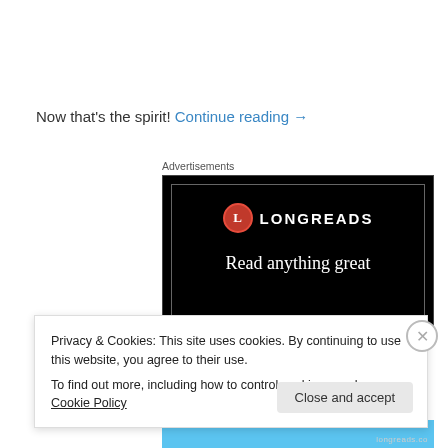Now that's the spirit! Continue reading →
Advertisements
[Figure (illustration): Longreads advertisement banner with black background, red circle logo with 'L', LONGREADS text, and tagline 'Read anything great']
Privacy & Cookies: This site uses cookies. By continuing to use this website, you agree to their use.
To find out more, including how to control cookies, see here: Cookie Policy